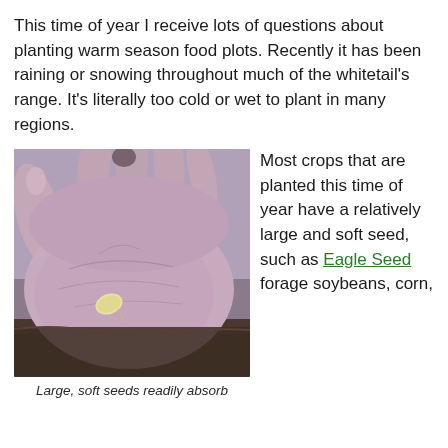This time of year I receive lots of questions about planting warm season food plots. Recently it has been raining or snowing throughout much of the whitetail's range. It's literally too cold or wet to plant in many regions.
[Figure (photo): A hand holding a single small pale seed (soybean) in its palm, with soil visible in the background.]
Large, soft seeds readily absorb
Most crops that are planted this time of year have a relatively large and soft seed, such as Eagle Seed forage soybeans, corn,